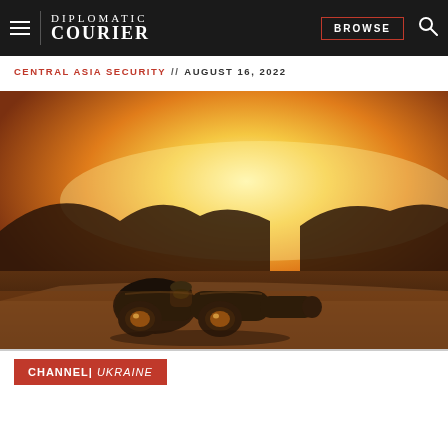DIPLOMATIC COURIER | BROWSE
CENTRAL ASIA SECURITY // AUGUST 16, 2022
[Figure (photo): Binoculars resting on a stone ledge at sunset with warm golden orange light and hills silhouetted in the background]
CHANNEL | UKRAINE